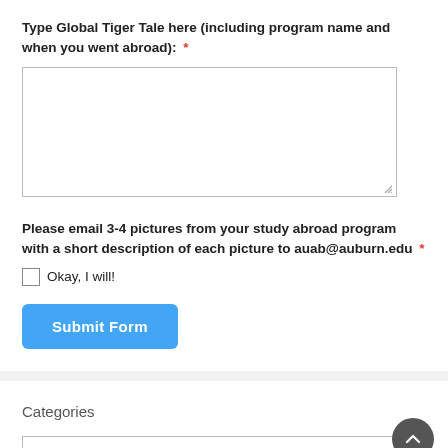Type Global Tiger Tale here (including program name and when you went abroad): *
[Figure (other): Empty textarea input box for user text entry]
Please email 3-4 pictures from your study abroad program with a short description of each picture to auab@auburn.edu *
Okay, I will!
Submit Form
Categories
Select Category